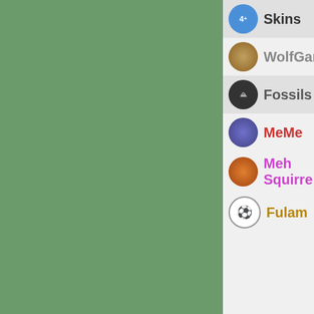Skins
WolfGang
Fossils
MeMe
Meh Squirre
Fulam
[Figure (line-chart): Partial line chart visible, starting at y=14 and trending downward]